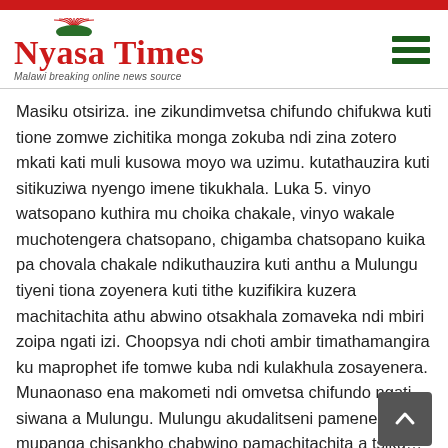Nyasa Times — Malawi breaking online news source
Masiku otsiriza. ine zikundimvetsa chifundo chifukwa kuti tione zomwe zichitika monga zokuba ndi zina zotero mkati kati muli kusowa moyo wa uzimu. kutathauzira kuti sitikuziwa nyengo imene tikukhala. Luka 5. vinyo watsopano kuthira mu choika chakale, vinyo wakale muchotengera chatsopano, chigamba chatsopano kuika pa chovala chakale ndikuthauzira kuti anthu a Mulungu tiyeni tiona zoyenera kuti tithe kuzifikira kuzera machitachita athu abwino otsakhala zomaveka ndi mbiri zoipa ngati izi. Choopsya ndi choti ambir timathamangira ku maprophet ife tomwe kuba ndi kulakhula zosayenera. Munaonaso ena makometi ndi omvetsa chifundo ngati siwana a Mulungu. Mulungu akudalitseni pamene mupanga chisankho chabwino pamachitachita a tsiku… Read more »